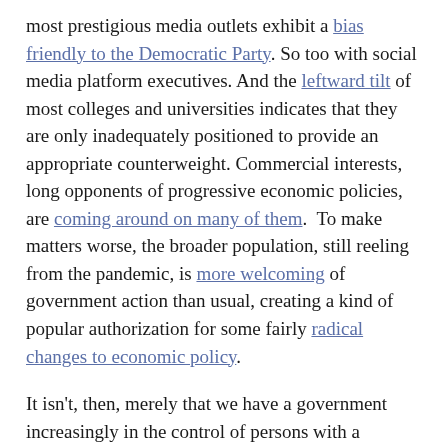most prestigious media outlets exhibit a bias friendly to the Democratic Party. So too with social media platform executives. And the leftward tilt of most colleges and universities indicates that they are only inadequately positioned to provide an appropriate counterweight. Commercial interests, long opponents of progressive economic policies, are coming around on many of them.  To make matters worse, the broader population, still reeling from the pandemic, is more welcoming of government action than usual, creating a kind of popular authorization for some fairly radical changes to economic policy.
It isn't, then, merely that we have a government increasingly in the control of persons with a predominantly progressive vision. We have a civil society, the major aspects of which also share that vision.
Moreover, things aren't likely to improve in this dimension, at least not in the medium term. The republican party platform